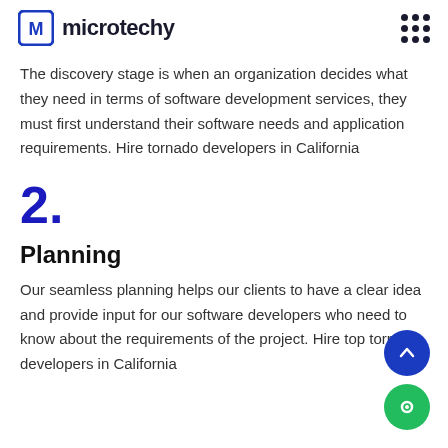microtechy
The discovery stage is when an organization decides what they need in terms of software development services, they must first understand their software needs and application requirements. Hire tornado developers in California
2.
Planning
Our seamless planning helps our clients to have a clear idea and provide input for our software developers who need to know about the requirements of the project. Hire top tornado developers in California